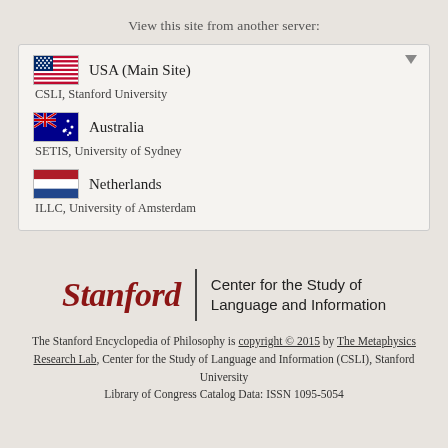View this site from another server:
USA (Main Site) — CSLI, Stanford University
Australia — SETIS, University of Sydney
Netherlands — ILLC, University of Amsterdam
[Figure (logo): Stanford | Center for the Study of Language and Information logo]
The Stanford Encyclopedia of Philosophy is copyright © 2015 by The Metaphysics Research Lab, Center for the Study of Language and Information (CSLI), Stanford University
Library of Congress Catalog Data: ISSN 1095-5054